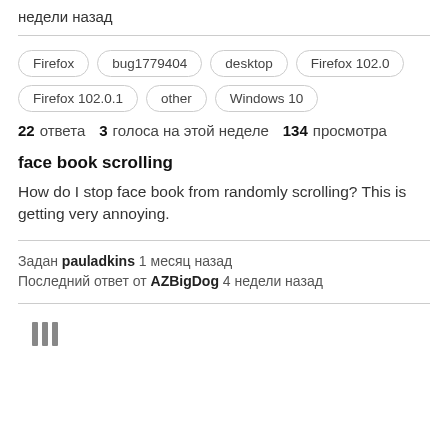недели назад
Firefox
bug1779404
desktop
Firefox 102.0
Firefox 102.0.1
other
Windows 10
22 ответа  3 голоса на этой неделе  134 просмотра
face book scrolling
How do I stop face book from randomly scrolling? This is getting very annoying.
Задан pauladkins 1 месяц назад
Последний ответ от AZBigDog 4 недели назад
[Figure (logo): Library/stack icon at the bottom left]